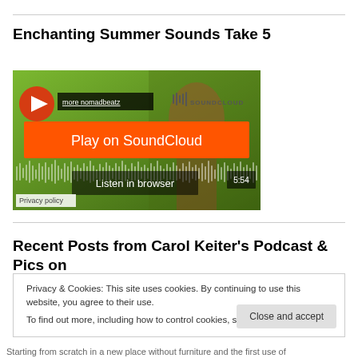Enchanting Summer Sounds Take 5
[Figure (screenshot): SoundCloud embedded player for 'more nomadbeatz' showing a Play on SoundCloud button, waveform, Listen in browser button, time badge 5:54, and Privacy policy text. Background is green with a partially visible person.]
Recent Posts from Carol Keiter's Podcast & Pics on
Privacy & Cookies: This site uses cookies. By continuing to use this website, you agree to their use.
To find out more, including how to control cookies, see here: Cookie Policy
Close and accept
Starting from scratch in a new place without furniture and the first use of